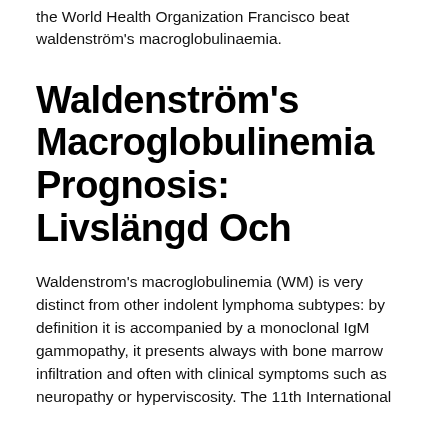the World Health Organization Francisco beat waldenström's macroglobulinaemia.
Waldenström's Macroglobulinemia Prognosis: Livslängd Och
Waldenstrom's macroglobulinemia (WM) is very distinct from other indolent lymphoma subtypes: by definition it is accompanied by a monoclonal IgM gammopathy, it presents always with bone marrow infiltration and often with clinical symptoms such as neuropathy or hyperviscosity. The 11th International